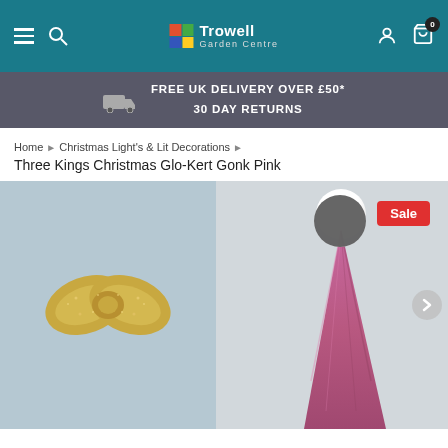Trowell Garden Centre — navigation header
FREE UK DELIVERY OVER £50* 30 DAY RETURNS
Home › Christmas Light's & Lit Decorations › Three Kings Christmas Glo-Kert Gonk Pink
[Figure (photo): Product page image showing two items: a gold glitter bow on the left panel and a pink fuzzy gonk/gnome hat with white pompom on the right panel, with a red Sale badge in the top right corner.]